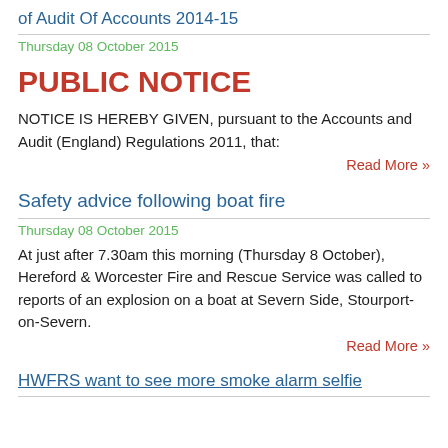of Audit Of Accounts 2014-15
Thursday 08 October 2015
PUBLIC NOTICE
NOTICE IS HEREBY GIVEN, pursuant to the Accounts and Audit (England) Regulations 2011, that:
Read More »
Safety advice following boat fire
Thursday 08 October 2015
At just after 7.30am this morning (Thursday 8 October), Hereford & Worcester Fire and Rescue Service was called to reports of an explosion on a boat at Severn Side, Stourport-on-Severn.
Read More »
HWFRS want to...